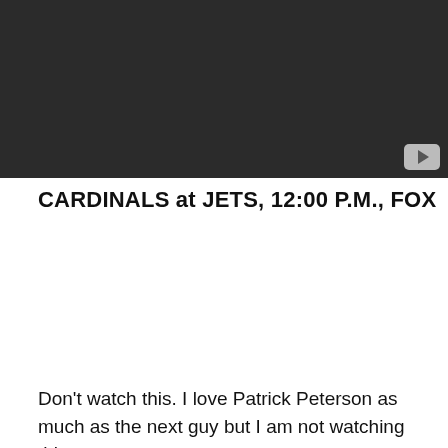[Figure (screenshot): Dark video thumbnail with YouTube play button in bottom-right corner]
CARDINALS at JETS, 12:00 P.M., FOX
Don't watch this. I love Patrick Peterson as much as the next guy but I am not watching this.